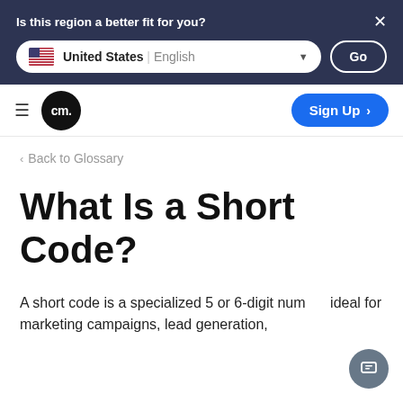Is this region a better fit for you? United States | English Go
[Figure (screenshot): Navigation bar with hamburger menu, CM. logo, and Sign Up button]
< Back to Glossary
What Is a Short Code?
A short code is a specialized 5 or 6-digit num ideal for marketing campaigns, lead generation,